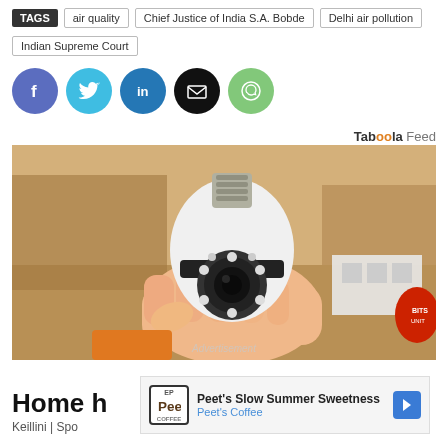TAGS  air quality  Chief Justice of India S.A. Bobde  Delhi air pollution  Indian Supreme Court
[Figure (infographic): Social sharing buttons: Facebook (purple-blue), Twitter (cyan), LinkedIn (blue), Email (black), WhatsApp (green)]
Taboola Feed
[Figure (photo): A hand holding a white light bulb-shaped security camera with a metal screw base and camera lens visible on the front, with LED lights around the lens. Wood-colored shelving visible in background. 'Advertisement' watermark at bottom.]
Home h... n.
Keillini | Spo...
[Figure (infographic): Overlay advertisement banner: Peet's Slow Summer Sweetness - Peet's Coffee, with logo and blue arrow button]